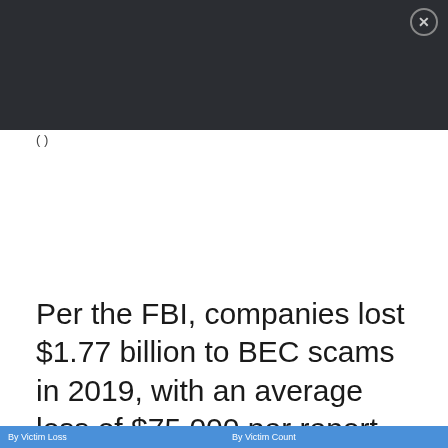(partial text fragment visible at top of content area)
Per the FBI, companies lost $1.77 billion to BEC scams in 2019, with an average loss of $75,000 per report.
By Victim Loss  |  By Victim Count